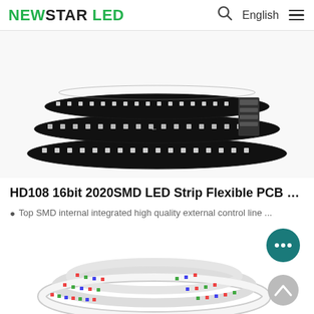NEWSTAR LED  Q  English  ☰
[Figure (photo): LED strip light coiled on black PCB with small square LEDs arranged in rows, showing wiring connections]
HD108 16bit 2020SMD LED Strip Flexible PCB 10...
Top SMD internal integrated high quality external control line ...
[Figure (photo): LED strip light coiled into multiple loops on white PCB showing dense colorful LEDs]